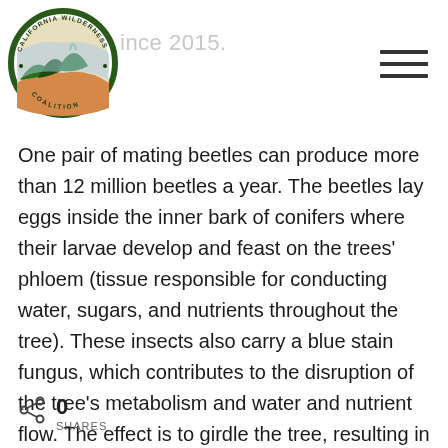since 2015.
One pair of mating beetles can produce more than 12 million beetles a year. The beetles lay eggs inside the inner bark of conifers where their larvae develop and feast on the trees' phloem (tissue responsible for conducting water, sugars, and nutrients throughout the tree). These insects also carry a blue stain fungus, which contributes to the disruption of the tree's metabolism and water and nutrient flow. The effect is to girdle the tree, resulting in death.
0 SHARES